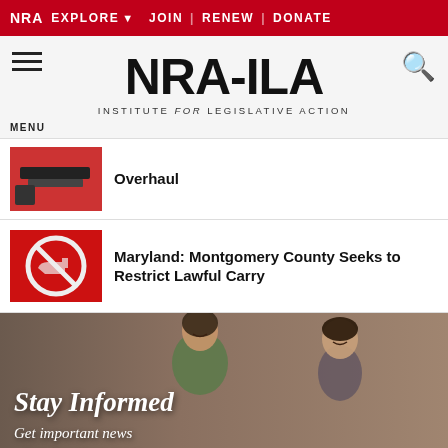NRA EXPLORE ▼  JOIN | RENEW | DONATE
[Figure (logo): NRA-ILA – Institute for Legislative Action logo with hamburger menu and search icon]
Overhaul
[Figure (photo): Thumbnail of guns]
Maryland: Montgomery County Seeks to Restrict Lawful Carry
[Figure (photo): No-guns sign on red background]
[Figure (photo): Woman and child smiling – Stay Informed promotional image]
Stay Informed
Get important news when it matters most.